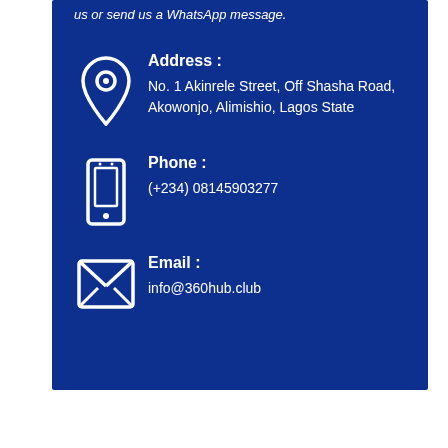us or send us a WhatsApp message.
Address : No. 1 Akinrele Street, Off Shasha Road, Akowonjo, Alimishio, Lagos State
Phone : (+234) 08145903277
Email : info@360hub.club